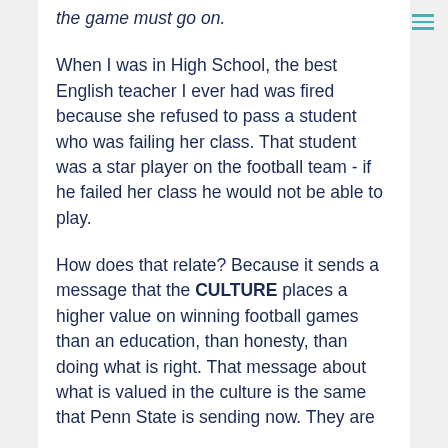the game must go on.
When I was in High School, the best English teacher I ever had was fired because she refused to pass a student who was failing her class. That student was a star player on the football team - if he failed her class he would not be able to play.
How does that relate? Because it sends a message that the CULTURE places a higher value on winning football games than an education, than honesty, than doing what is right. That message about what is valued in the culture is the same that Penn State is sending now. They are